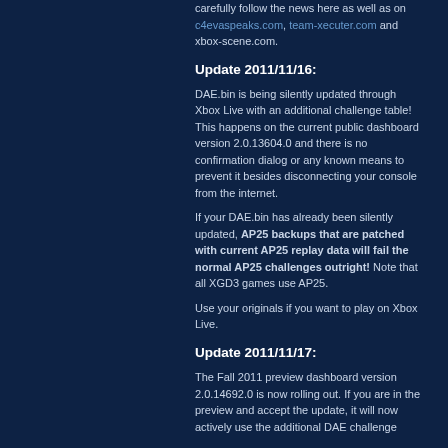carefully follow the news here as well as on c4evaspeaks.com, team-xecuter.com and xbox-scene.com.
Update 2011/11/16:
DAE.bin is being silently updated through Xbox Live with an additional challenge table! This happens on the current public dashboard version 2.0.13604.0 and there is no confirmation dialog or any known means to prevent it besides disconnecting your console from the internet.
If your DAE.bin has already been silently updated, AP25 backups that are patched with current AP25 replay data will fail the normal AP25 challenges outright! Note that all XGD3 games use AP25.
Use your originals if you want to play on Xbox Live.
Update 2011/11/17:
The Fall 2011 preview dashboard version 2.0.14692.0 is now rolling out. If you are in the preview and accept the update, it will now actively use the additional DAE challenge